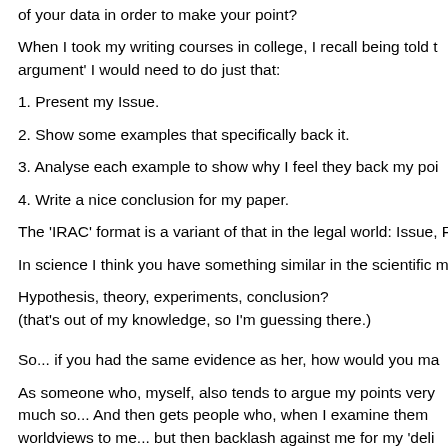of your data in order to make your point?
When I took my writing courses in college, I recall being told t argument' I would need to do just that:
1. Present my Issue.
2. Show some examples that specifically back it.
3. Analyse each example to show why I feel they back my poi
4. Write a nice conclusion for my paper.
The 'IRAC' format is a variant of that in the legal world: Issue, R
In science I think you have something similar in the scientific m
Hypothesis, theory, experiments, conclusion?
(that's out of my knowledge, so I'm guessing there.)
So... if you had the same evidence as her, how would you ma
As someone who, myself, also tends to argue my points very much so... And then gets people who, when I examine them worldviews to me... but then backlash against me for my 'deli
That's a question that's on my mind a lot...